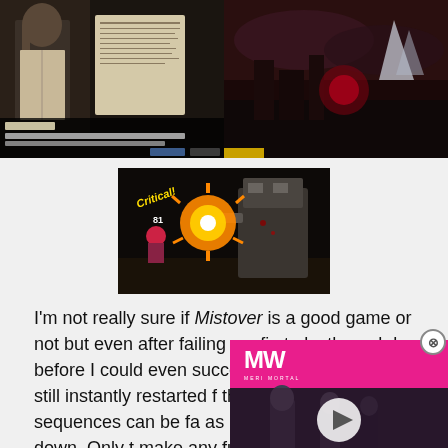[Figure (screenshot): Top-left game screenshot from Mistover showing an anime-style character in a dark RPG scene with dialogue box at bottom]
[Figure (screenshot): Top-right game screenshot from Mistover showing a dark red apocalyptic landscape]
[Figure (screenshot): Center game screenshot from Mistover showing a 'Critical! 81' battle scene with a large mechanical enemy and orange explosion effect]
I'm not really sure if Mistover is a good game or not but even after failing my first playthrough by before I could even successfully k monster, I still instantly restarted f that the story sequences can be fa as not to get bogged down. Only t make any further progress but it's still definitely interesting as far as expanding my game horizons are concerned.
[Figure (screenshot): Video overlay for 'Best PC Horror Games 2022' from MeriStation with play button]